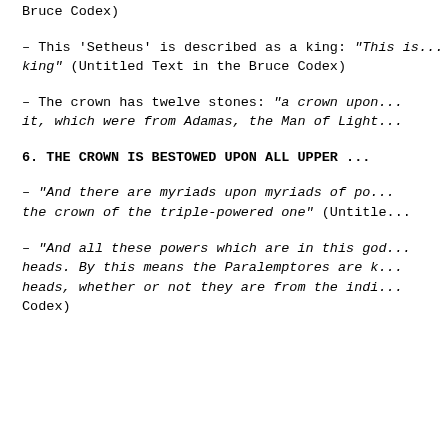Bruce Codex)
– This 'Setheus' is described as a king: "This is... king" (Untitled Text in the Bruce Codex)
– The crown has twelve stones: "a crown upon it, which were from Adamas, the Man of Light..."
6. THE CROWN IS BESTOWED UPON ALL UPPER ...
– "And there are myriads upon myriads of po... the crown of the triple-powered one" (Untitle...
– "And all these powers which are in this god... heads. By this means the Paralemptores are k... heads, whether or not they are from the indi... Codex)